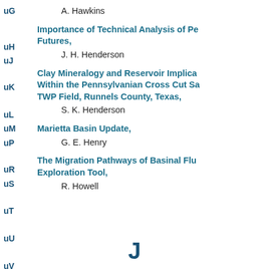uG
A. Hawkins
uH
uJ
Importance of Technical Analysis of Pe Futures,
uK
J. H. Henderson
uL
uM
uP
Clay Mineralogy and Reservoir Implica Within the Pennsylvanian Cross Cut Sa TWP Field, Runnels County, Texas,
uR
uS
S. K. Henderson
uT
Marietta Basin Update,
uU
G. E. Henry
uV
uW
The Migration Pathways of Basinal Flu Exploration Tool,
R. Howell
J